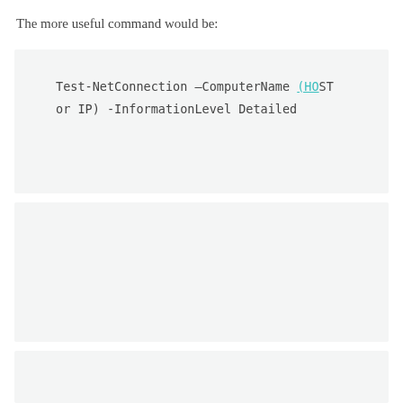The more useful command would be:
Test-NetConnection –ComputerName (HOST or IP) -InformationLevel Detailed
Which produces the following useful output: